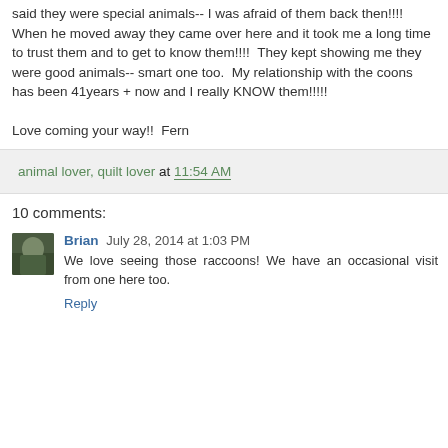said they were special animals-- I was afraid of them back then!!!!
When he moved away they came over here and it took me a long time to trust them and to get to know them!!!!  They kept showing me they were good animals-- smart one too.  My relationship with the coons has been 41years + now and I really KNOW them!!!!!
Love coming your way!!  Fern
animal lover, quilt lover at 11:54 AM
10 comments:
Brian July 28, 2014 at 1:03 PM
We love seeing those raccoons! We have an occasional visit from one here too.
Reply